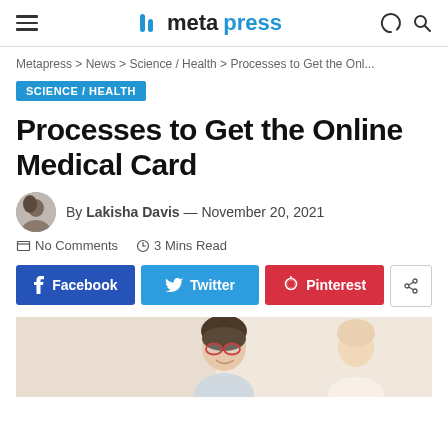metapress
Metapress > News > Science / Health > Processes to Get the Onl...
SCIENCE / HEALTH
Processes to Get the Online Medical Card
By Lakisha Davis — November 20, 2021
No Comments  3 Mins Read
Facebook  Twitter  Pinterest
[Figure (photo): Photo of a woman with glasses smiling, partial view]